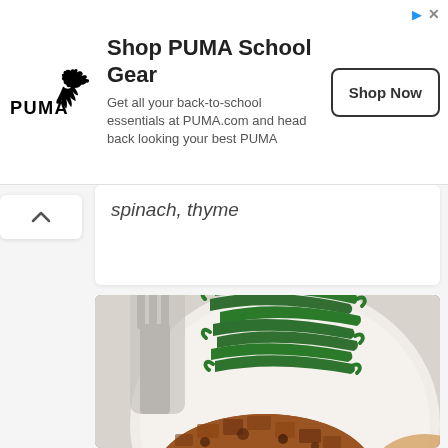[Figure (illustration): PUMA advertisement banner with PUMA logo, title 'Shop PUMA School Gear', description text, and 'Shop Now' button]
spinach, thyme
[Figure (photo): Food photo showing a plate with green beans and a breaded/crusted meat dish on a light gray background]